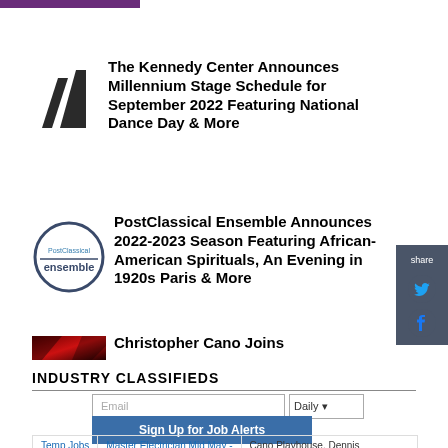[Figure (logo): Purple/violet rectangular bar at top left]
[Figure (logo): Kennedy Center logo - two dark triangular/angular shapes resembling a building or stage]
The Kennedy Center Announces Millennium Stage Schedule for September 2022 Featuring National Dance Day & More
[Figure (logo): PostClassical Ensemble logo - a circle outline with text 'PostClassical ensemble' inside]
PostClassical Ensemble Announces 2022-2023 Season Featuring African-American Spirituals, An Evening in 1920s Paris & More
[Figure (photo): Red/dark dramatic photo thumbnail - Christopher Cano article]
Christopher Cano Joins
INDUSTRY CLASSIFIEDS
Email
Daily
Sign Up for Job Alerts
Temp Jobs
Master Electrician Mid May -
Cano Playhouse, Dennis